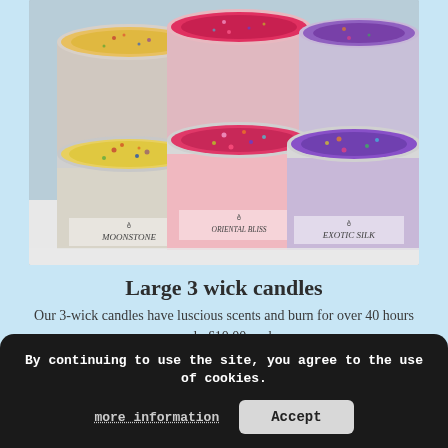[Figure (photo): Six decorative candles in silver tins arranged in two rows, each containing colorful glitter-topped wax. Front row labeled: MOONSTONE (yellow), ORIENTAL BLISS (pink/red), EXOTIC SILK (purple). Back row shows similar tins with multicolor glitter tops.]
Large 3 wick candles
Our 3-wick candles have luscious scents and burn for over 40 hours – only £10.00 each.
By continuing to use the site, you agree to the use of cookies.
more information
Accept